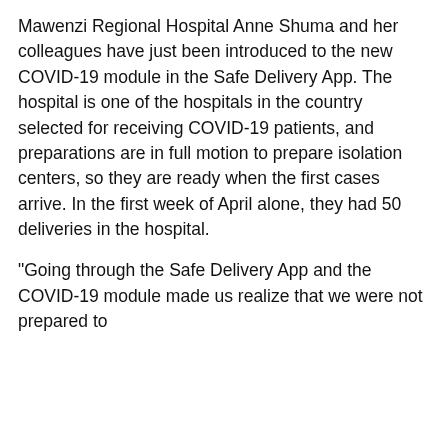Mawenzi Regional Hospital Anne Shuma and her colleagues have just been introduced to the new COVID-19 module in the Safe Delivery App. The hospital is one of the hospitals in the country selected for receiving COVID-19 patients, and preparations are in full motion to prepare isolation centers, so they are ready when the first cases arrive. In the first week of April alone, they had 50 deliveries in the hospital.
“Going through the Safe Delivery App and the COVID-19 module made us realize that we were not prepared to
[Figure (screenshot): Cookie consent dialog box with title 'About cookies', close button (x), body text about accepting cookies, and two buttons: 'Accept All Cookies' and 'Reject All'.]